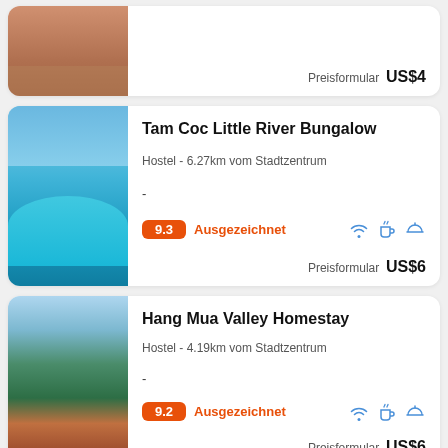[Figure (photo): Top partial card showing a terrace/outdoor area photo, partially cropped]
Preisformular  US$4
[Figure (photo): Swimming pool with blue water, umbrella and sky background at Tam Coc Little River Bungalow]
Tam Coc Little River Bungalow
Hostel - 6.27km vom Stadtzentrum
-
9.3  Ausgezeichnet
Preisformular  US$6
[Figure (photo): Aerial/elevated view of Hang Mua Valley with mountains, trees and red-roofed buildings]
Hang Mua Valley Homestay
Hostel - 4.19km vom Stadtzentrum
-
9.2  Ausgezeichnet
Preisformular  US$6